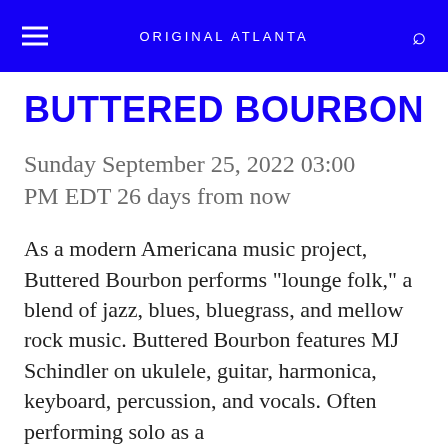ORIGINAL ATLANTA
BUTTERED BOURBON
Sunday September 25, 2022 03:00 PM EDT 26 days from now
As a modern Americana music project, Buttered Bourbon performs "lounge folk," a blend of jazz, blues, bluegrass, and mellow rock music. Buttered Bourbon features MJ Schindler on ukulele, guitar, harmonica, keyboard, percussion, and vocals. Often performing solo as a